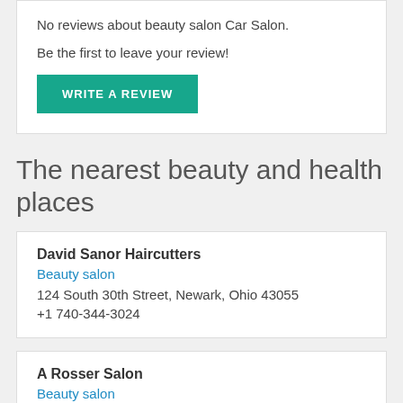No reviews about beauty salon Car Salon.
Be the first to leave your review!
WRITE A REVIEW
The nearest beauty and health places
David Sanor Haircutters
Beauty salon
124 South 30th Street, Newark, Ohio 43055
+1 740-344-3024
A Rosser Salon
Beauty salon
29 South 29th Street, Newark, Ohio 43055